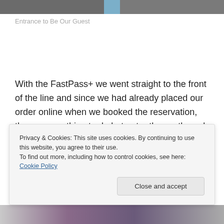[Figure (photo): Partial top strip of a photo showing the entrance to Be Our Guest restaurant]
Entrance to Be Our Guest
With the FastPass+ we went straight to the front of the line and since we had already placed our order online when we booked the reservation, there was nothing to do but enter the castle and find a seat!
This meal was by far the best quick service I've had!!
Privacy & Cookies: This site uses cookies. By continuing to use this website, you agree to their use.
To find out more, including how to control cookies, see here: Cookie Policy
[Figure (photo): Partial bottom strip of a photo]